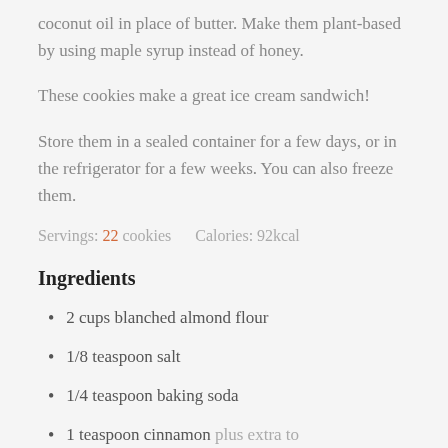coconut oil in place of butter. Make them plant-based by using maple syrup instead of honey.
These cookies make a great ice cream sandwich!
Store them in a sealed container for a few days, or in the refrigerator for a few weeks. You can also freeze them.
Servings: 22 cookies    Calories: 92kcal
Ingredients
2 cups blanched almond flour
1/8 teaspoon salt
1/4 teaspoon baking soda
1 teaspoon cinnamon plus extra to